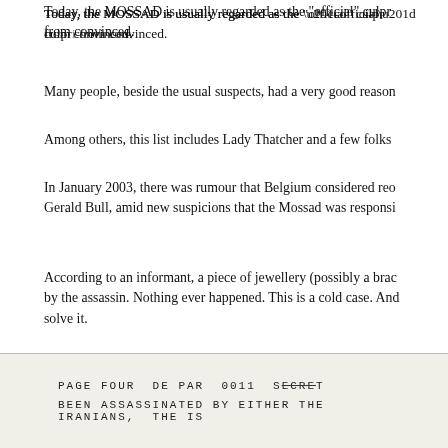Today, the MOSSAD is usually regarded as the “official” culprit from convinced.
Many people, beside the usual suspects, had a very good reason
Among others, this list includes Lady Thatcher and a few folks
In January 2003, there was rumour that Belgium considered reopening Gerald Bull, amid new suspicions that the Mossad was responsible.
According to an informant, a piece of jewellery (possibly a bracelet) by the assassin. Nothing ever happened. This is a cold case. And solve it.
Nevertheless, I will give the Belgian investigators some credit. death a suicide.
[Figure (other): Stamped document footer showing: PAGE FOUR DE PAR 0011 SECRET (with SECRET crossed out) / BEEN ASSASSINATED BY EITHER THE IRANIANS, THE IS]